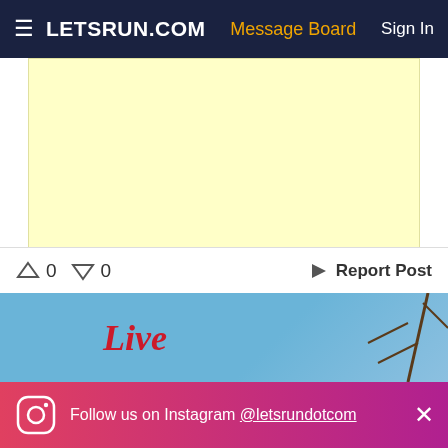LETSRUN.COM | Message Board | Sign In
[Figure (other): Yellow advertisement placeholder area]
↑ 0  ↓ 0   Report Post
[Figure (photo): Live event photo with cursive red 'Live' text overlay and blue sky background]
Follow us on Instagram @letsrundotcom